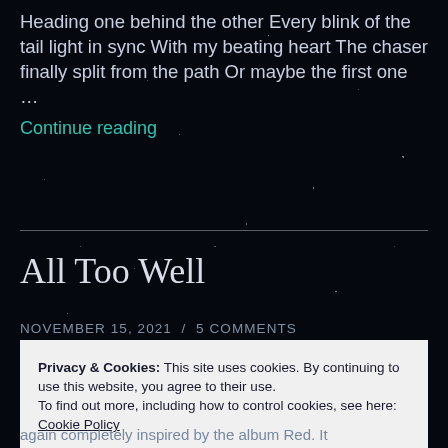Heading one behind the other Every blink of the tail light in sync With my beating heart The chaser finally split from the path Or maybe the first one …
Continue reading
All Too Well
NOVEMBER 15, 2021 / 5 COMMENTS
Privacy & Cookies: This site uses cookies. By continuing to use this website, you agree to their use.
To find out more, including how to control cookies, see here: Cookie Policy
again completely inspired by the album Red. It